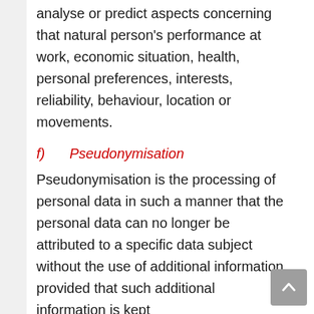analyse or predict aspects concerning that natural person's performance at work, economic situation, health, personal preferences, interests, reliability, behaviour, location or movements.
f)  Pseudonymisation
Pseudonymisation is the processing of personal data in such a manner that the personal data can no longer be attributed to a specific data subject without the use of additional information, provided that such additional information is kept